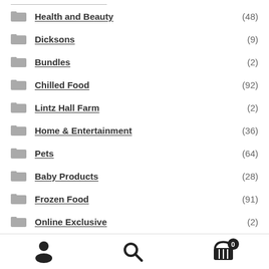Health and Beauty (48)
Dicksons (9)
Bundles (2)
Chilled Food (92)
Lintz Hall Farm (2)
Home & Entertainment (36)
Pets (64)
Baby Products (28)
Frozen Food (91)
Online Exclusive (2)
Food Cupboard (655)